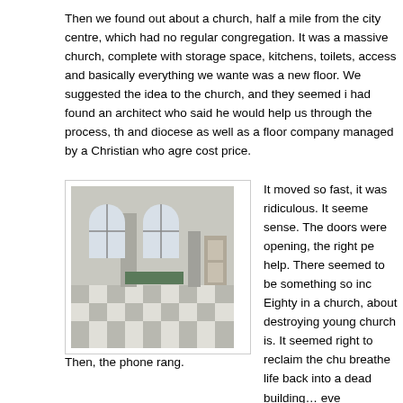Then we found out about a church, half a mile from the city centre, which had no regular congregation. It was a massive church, complete with storage space, kitchens, toilets, access and basically everything we wanted was a new floor. We suggested the idea to the church, and they seemed i had found an architect who said he would help us through the process, th and diocese as well as a floor company managed by a Christian who agre cost price.
[Figure (photo): Interior of a church showing high arched windows, stone columns, and a checkered floor pattern]
It moved so fast, it was ridiculous. It seeme sense. The doors were opening, the right pe help. There seemed to be something so inc Eighty in a church, about destroying young church is. It seemed right to reclaim the chu breathe life back into a dead building… eve
We would have to raise around £12,000, bu a big black truck, we could do that. We were do was find the money and then we could finally get our dream venue.
Then, the phone rang.